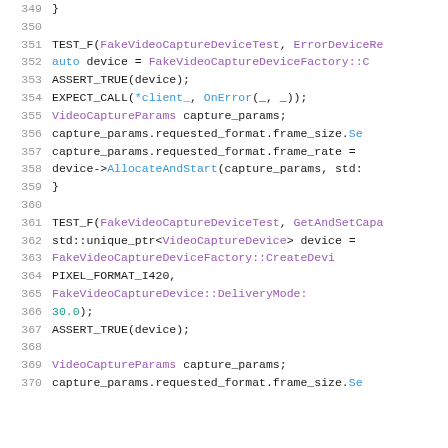[Figure (screenshot): Source code listing showing C++ unit test code with line numbers 349-370. The code shows TEST_F function definitions for FakeVideoCaptureDeviceTest including ErrorDeviceRe and GetAndSetCapa tests. Code uses monospace font with syntax highlighting: purple for type names, blue for method calls, teal for numeric literals.]